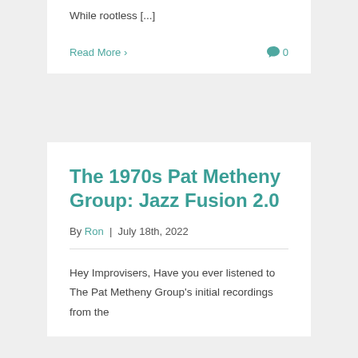While rootless [...]
Read More  0
The 1970s Pat Metheny Group: Jazz Fusion 2.0
By Ron | July 18th, 2022
Hey Improvisers, Have you ever listened to The Pat Metheny Group's initial recordings from the